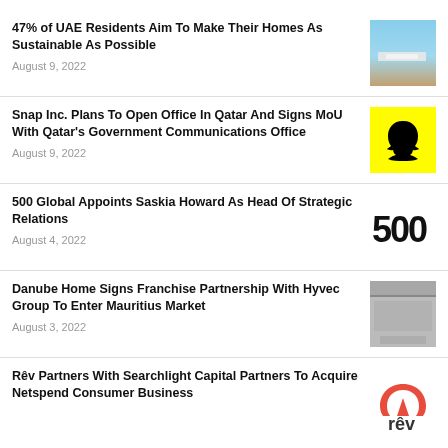47% of UAE Residents Aim To Make Their Homes As Sustainable As Possible
August 9, 2022
Snap Inc. Plans To Open Office In Qatar And Signs MoU With Qatar's Government Communications Office
August 9, 2022
500 Global Appoints Saskia Howard As Head Of Strategic Relations
August 4, 2022
Danube Home Signs Franchise Partnership With Hyvec Group To Enter Mauritius Market
August 3, 2022
Rêv Partners With Searchlight Capital Partners To Acquire Netspend Consumer Business